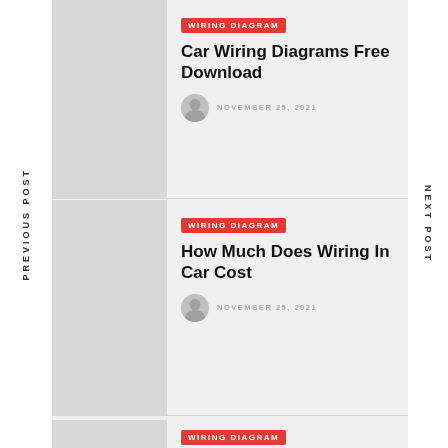PREVIOUS POST
NEXT POST
WIRING DIAGRAM
Car Wiring Diagrams Free Download
NOVEMBER 25, 2021
WIRING DIAGRAM
How Much Does Wiring In Car Cost
NOVEMBER 25, 2021
WIRING DIAGRAM